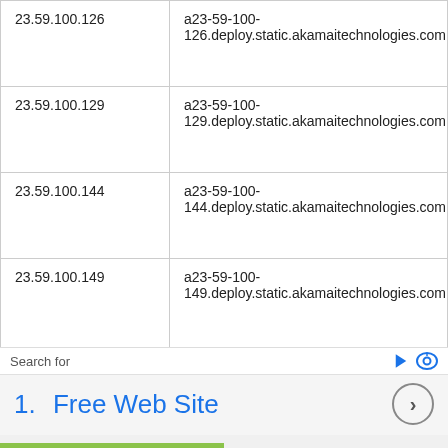| IP Address | Hostname |
| --- | --- |
| 23.59.100.126 | a23-59-100-126.deploy.static.akamaitechnologies.com |
| 23.59.100.129 | a23-59-100-129.deploy.static.akamaitechnologies.com |
| 23.59.100.144 | a23-59-100-144.deploy.static.akamaitechnologies.com |
| 23.59.100.149 | a23-59-100-149.deploy.static.akamaitechnologies.com |
| 23.59.100.158 | a23-59-100-158.deploy.static.akamaitechnologies.com |
Search for
1.  Free Web Site